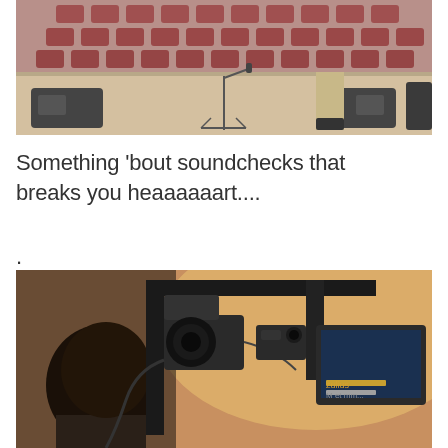[Figure (photo): A stage with empty red theater seats in the background, a microphone stand in the center, speaker monitors on the floor, and a person's lower body visible walking on the stage.]
Something 'bout soundchecks that breaks you heaaaaaart....
.
[Figure (photo): Behind-the-scenes shot of a person viewed from behind looking at stage equipment, cameras, and monitors in a backstage or concert venue setting.]